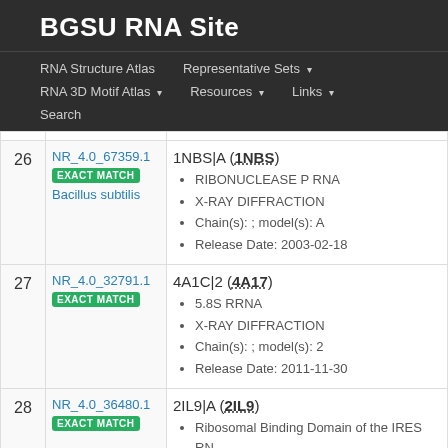BGSU RNA Site
RNA Structure Atlas | Representative Sets ▾ | RNA 3D Motif Atlas ▾ | Resources ▾ | Links ▾ | Search
| # | ID / Match | Entry Details |
| --- | --- | --- |
| 26 | NR_4.0_67359.1
EXACT MATCH
Bacillus subtilis | 1NBS|A (1NBS)
• RIBONUCLEASE P RNA
• X-RAY DIFFRACTION
• Chain(s): ; model(s): A
• Release Date: 2003-02-18 |
| 27 | NR_4.0_32791.1
EXACT MATCH | 4A1C|2 (4A17)
• 5.8S RRNA
• X-RAY DIFFRACTION
• Chain(s): ; model(s): 2
• Release Date: 2011-11-30 |
| 28 | NR_4.0_36480.1
EXACT MATCH | 2IL9|A (2IL9)
• Ribosomal Binding Domain of the IRES RN… |